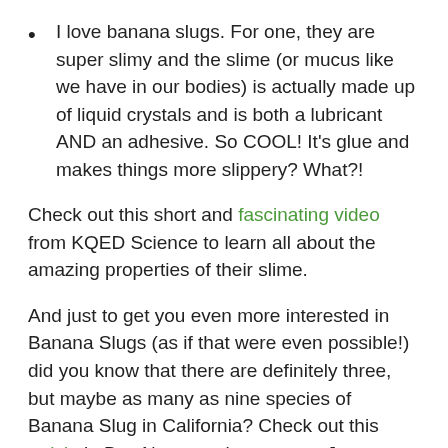I love banana slugs. For one, they are super slimy and the slime (or mucus like we have in our bodies) is actually made up of liquid crystals and is both a lubricant AND an adhesive. So COOL! It's glue and makes things more slippery? What?!
Check out this short and fascinating video from KQED Science to learn all about the amazing properties of their slime.
And just to get you even more interested in Banana Slugs (as if that were even possible!) did you know that there are definitely three, but maybe as many as nine species of Banana Slug in California? Check out this article in Bay Nature to learn more. Just goes to show, nature is full of surprises!
Can you find a Banana Slug where you live? Share a